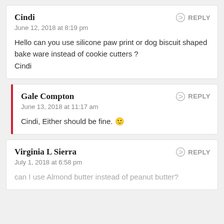Cindi
June 12, 2018 at 8:19 pm
Hello can you use silicone paw print or dog biscuit shaped bake ware instead of cookie cutters ? Cindi
Gale Compton
June 13, 2018 at 11:17 am
Cindi, Either should be fine. 🙂
Virginia L Sierra
July 1, 2018 at 6:58 pm
can I use Almond butter instead of peanut butter?